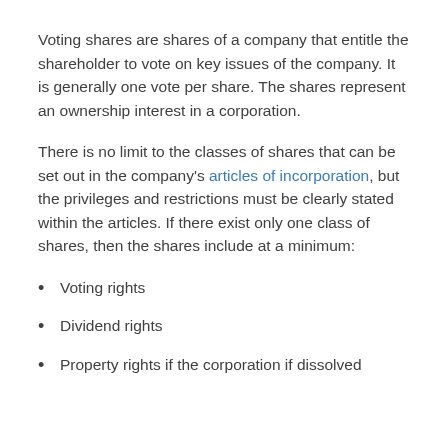Voting shares are shares of a company that entitle the shareholder to vote on key issues of the company. It is generally one vote per share. The shares represent an ownership interest in a corporation.
There is no limit to the classes of shares that can be set out in the company's articles of incorporation, but the privileges and restrictions must be clearly stated within the articles. If there exist only one class of shares, then the shares include at a minimum:
Voting rights
Dividend rights
Property rights if the corporation if dissolved